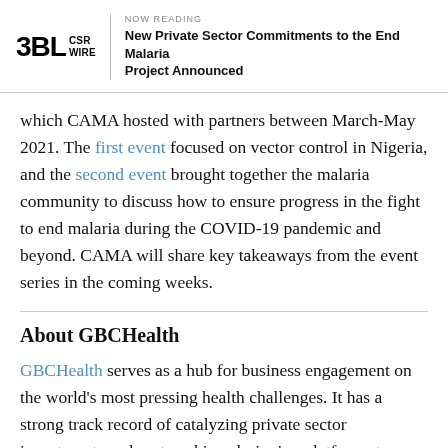3BL CSR WIRE | NOW READING: New Private Sector Commitments to the End Malaria Project Announced
which CAMA hosted with partners between March-May 2021. The first event focused on vector control in Nigeria, and the second event brought together the malaria community to discuss how to ensure progress in the fight to end malaria during the COVID-19 pandemic and beyond. CAMA will share key takeaways from the event series in the coming weeks.
About GBCHealth
GBCHealth serves as a hub for business engagement on the world's most pressing health challenges. It has a strong track record of catalyzing private sector investments and partnerships, designing platforms to build knowledge and multi-stakeholder collaboration, and creating tools to